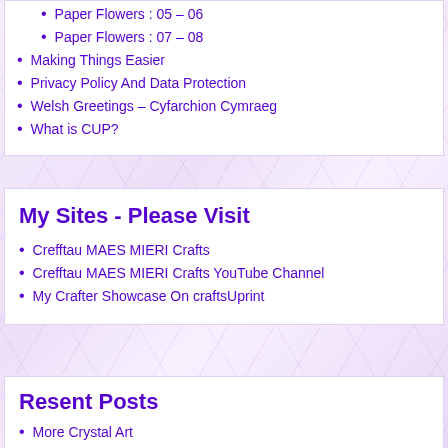Paper Flowers : 05 – 06
Paper Flowers : 07 – 08
Making Things Easier
Privacy Policy And Data Protection
Welsh Greetings – Cyfarchion Cymraeg
What is CUP?
My Sites - Please Visit
Crefftau MAES MIERI Crafts
Crefftau MAES MIERI Crafts YouTube Channel
My Crafter Showcase On craftsUprint
Resent Posts
More Crystal Art
Crystal Art Elephants
2022 Calendar – 04 – Ebrill/April